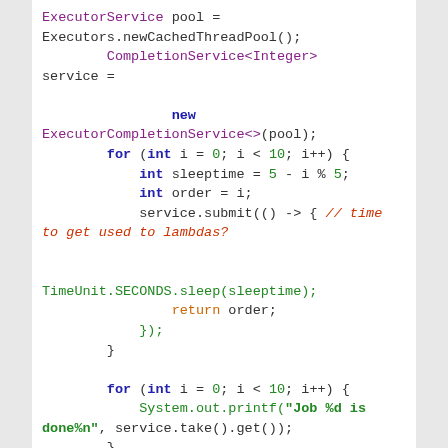ExecutorService pool = Executors.newCachedThreadPool();
        CompletionService<Integer> service =
                new ExecutorCompletionService<>(pool);
        for (int i = 0; i < 10; i++) {
            int sleeptime = 5 - i % 5;
            int order = i;
            service.submit(() -> { // time to get used to lambdas?

TimeUnit.SECONDS.sleep(sleeptime);
                return order;
            });
        }

        for (int i = 0; i < 10; i++) {
            System.out.printf("Job %d is done%n", service.take().get());
        }
    }